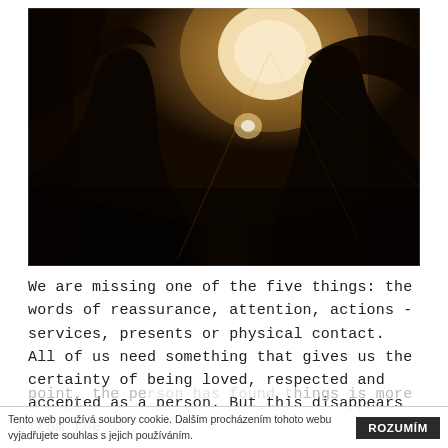[Figure (photo): Silhouette of two people kissing against a bright glowing sunset/backlight, dramatic dark tones with golden warm light in the background]
We are missing one of the five things: the words of reassurance, attention, actions - services, presents or physical contact. All of us need something that gives us the certainty of being loved, respected and accepted as a person. But this disappears from the
point, the pe[rson has found t]hings is more
Tento web používá soubory cookie. Dalším procházením tohoto webu vyjadřujete souhlas s jejich používáním. ROZUMÍM